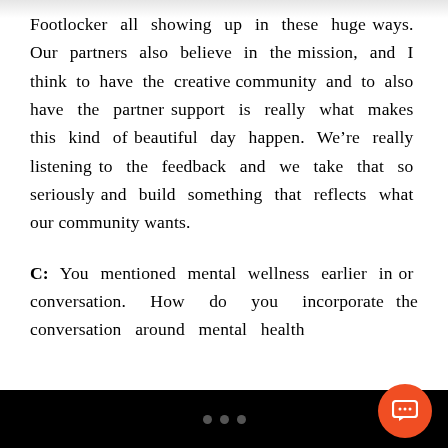Footlocker all showing up in these huge ways. Our partners also believe in the mission, and I think to have the creative community and to also have the partner support is really what makes this kind of beautiful day happen. We’re really listening to the feedback and we take that so seriously and build something that reflects what our community wants.
C: You mentioned mental wellness earlier in or conversation. How do you incorporate the conversation around mental health
[Figure (other): Orange circular chat/comment button in bottom-right corner, and three grey dots navigation indicator centered at the bottom on a black bar.]